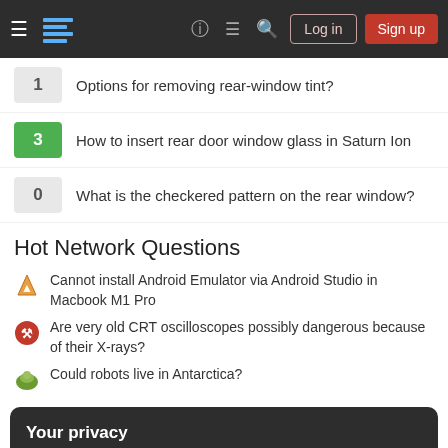Stack Exchange navigation bar with hamburger menu, logo, help, chat, search icons, Log in and Sign up buttons
1 — Options for removing rear-window tint?
3 — How to insert rear door window glass in Saturn Ion
0 — What is the checkered pattern on the rear window?
Hot Network Questions
Cannot install Android Emulator via Android Studio in Macbook M1 Pro
Are very old CRT oscilloscopes possibly dangerous because of their X-rays?
Could robots live in Antarctica?
Your privacy
By clicking "Accept all cookies", you agree Stack Exchange can store cookies on your device and disclose information in accordance with our Cookie Policy.
Accept all cookies  Customize settings
Do Ubuntu releases 'pin' a specific Python minor version (e.g. 3.0)?